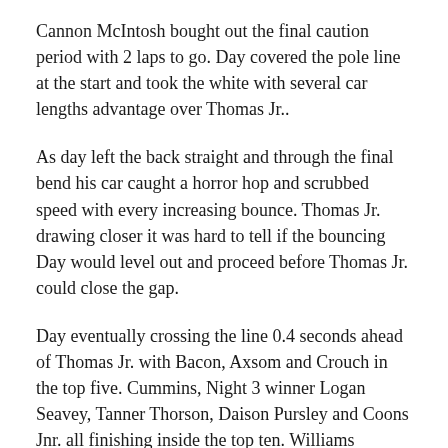Cannon McIntosh bought out the final caution period with 2 laps to go. Day covered the pole line at the start and took the white with several car lengths advantage over Thomas Jr..
As day left the back straight and through the final bend his car caught a horror hop and scrubbed speed with every increasing bounce. Thomas Jr. drawing closer it was hard to tell if the bouncing Day would level out and proceed before Thomas Jr. could close the gap.
Day eventually crossing the line 0.4 seconds ahead of Thomas Jr. with Bacon, Axsom and Crouch in the top five. Cummins, Night 3 winner Logan Seavey, Tanner Thorson, Daison Pursley and Coons Jnr. all finishing inside the top ten. Williams coming home in 11th place after fighting hard for spots won and lost throughout the 30 lap race.